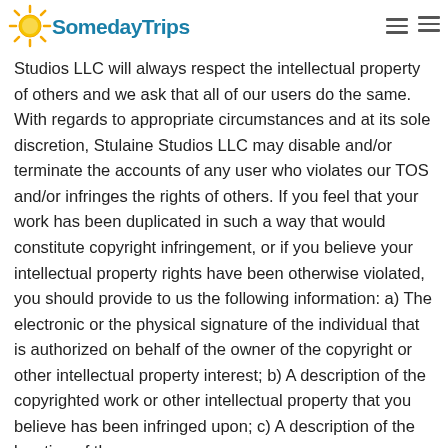SomedayTrips
Studios LLC will always respect the intellectual property of others and we ask that all of our users do the same. With regards to appropriate circumstances and at its sole discretion, Stulaine Studios LLC may disable and/or terminate the accounts of any user who violates our TOS and/or infringes the rights of others. If you feel that your work has been duplicated in such a way that would constitute copyright infringement, or if you believe your intellectual property rights have been otherwise violated, you should provide to us the following information: a) The electronic or the physical signature of the individual that is authorized on behalf of the owner of the copyright or other intellectual property interest; b) A description of the copyrighted work or other intellectual property that you believe has been infringed upon; c) A description of the location of the